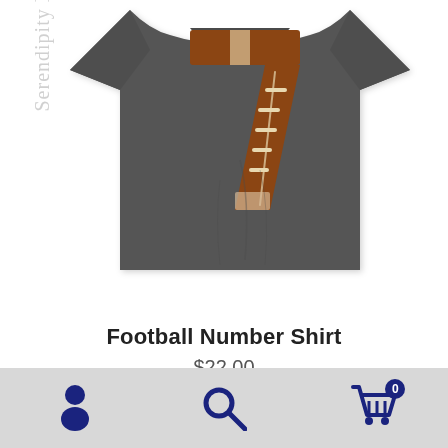[Figure (photo): A dark gray heather t-shirt with a large number 7 design made to look like a football, on a white background. The shirt is shown from the front. A diagonal watermark reading 'Serendipity Designs' is overlaid on the left side.]
Football Number Shirt
$22.00